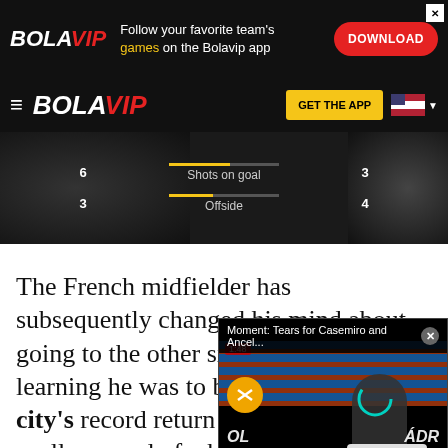[Figure (screenshot): Bolavip advertisement banner: Follow your favorite team's games on the Bolavip app. Download button.]
BOLAVIP — GET THE APP
[Figure (screenshot): Match statistics panel showing Shots on goal 6 vs 3, and Offside 3 vs 4, on dark background]
The French midfielder has subsequently changed his mind about going to the other side of town after learning he was to be greeted in the city's ... record return to Un... enjoyed two spells ... second of which w...
[Figure (screenshot): Video popup overlay: Moment: Tears for Casemiro and Ancelotti. Shows Real Madrid stadium, person at podium crying, Real Madrid badge.]